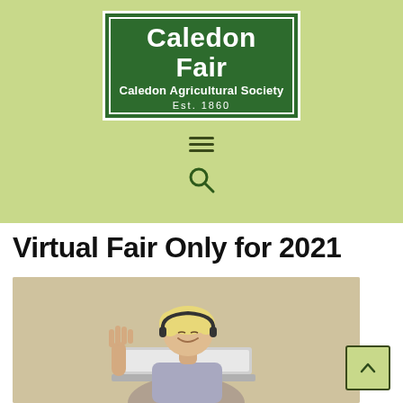[Figure (logo): Caledon Fair logo: dark green rectangle with white border and inner border. Large bold white text 'Caledon Fair', below 'Caledon Agricultural Society', below 'Est. 1860'. Logo sits on light olive/yellow-green background header.]
[Figure (other): Hamburger menu icon (three horizontal lines) centered on light green background]
[Figure (other): Search/magnifying glass icon centered on light green background]
Virtual Fair Only for 2021
[Figure (photo): Photo of a smiling blonde woman wearing headphones, raising one hand and looking at a laptop screen. Beige/neutral background. Cropped at bottom of page.]